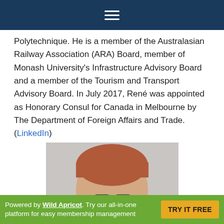☰
Polytechnique. He is a member of the Australasian Railway Association (ARA) Board, member of Monash University's Infrastructure Advisory Board and a member of the Tourism and Transport Advisory Board. In July 2017, René was appointed as Honorary Consul for Canada in Melbourne by The Department of Foreign Affairs and Trade. (LinkedIn)
[Figure (photo): Portrait photo of a woman with short auburn hair wearing glasses]
Powered by Wild Apricot. Try our all-in-one platform for easy membership management  TRY IT FREE